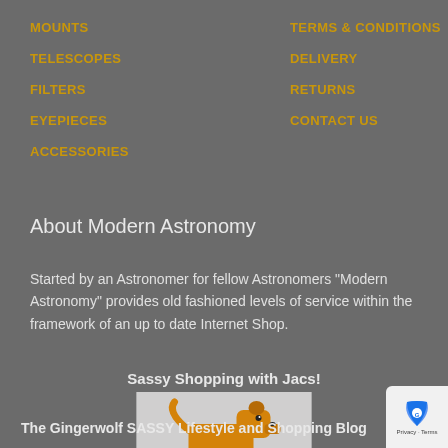MOUNTS
TELESCOPES
FILTERS
EYEPIECES
ACCESSORIES
TERMS & CONDITIONS
DELIVERY
RETURNS
CONTACT US
About Modern Astronomy
Started by an Astronomer for fellow Astronomers "Modern Astronomy" provides old fashioned levels of service within the framework of an up to date Internet Shop.
Sassy Shopping with Jacs!
[Figure (illustration): Drawing of an orange/yellow dog (gingerwolf) standing on green grass on a light gray background]
The Gingerwolf SASSY Lifestyle and Shopping Blog